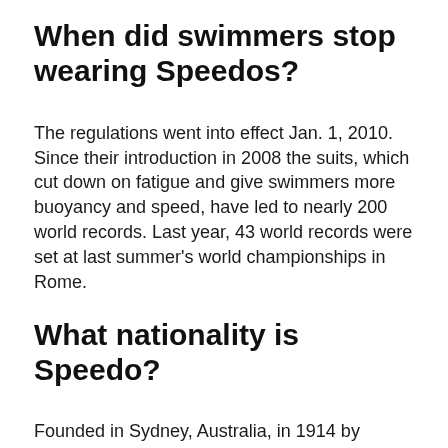When did swimmers stop wearing Speedos?
The regulations went into effect Jan. 1, 2010. Since their introduction in 2008 the suits, which cut down on fatigue and give swimmers more buoyancy and speed, have led to nearly 200 world records. Last year, 43 world records were set at last summer's world championships in Rome.
What nationality is Speedo?
Founded in Sydney, Australia, in 1914 by Alexander MacRae, a Scottish emigrant, the industry-leading company is now a subsidiary of the British Pentland Group.